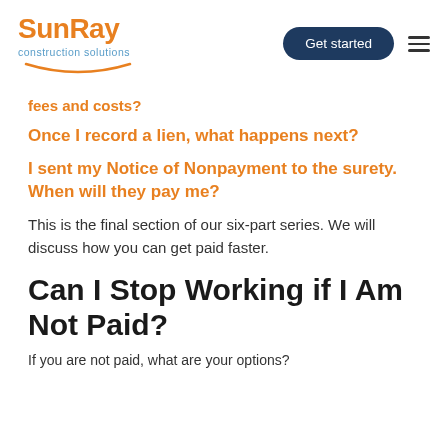SunRay construction solutions | Get started
fees and costs?
Once I record a lien, what happens next?
I sent my Notice of Nonpayment to the surety. When will they pay me?
This is the final section of our six-part series. We will discuss how you can get paid faster.
Can I Stop Working if I Am Not Paid?
If you are not paid, what are your options?